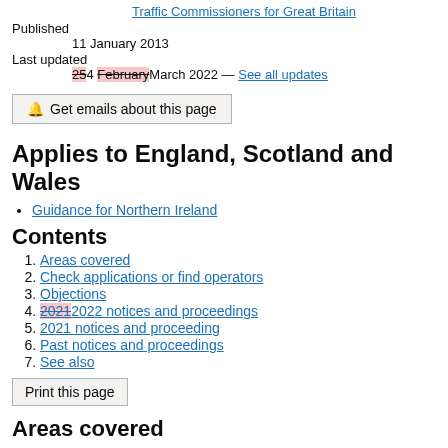Traffic Commissioners for Great Britain
Published
11 January 2013
Last updated
254 February March 2022 — See all updates
🔔 Get emails about this page
Applies to England, Scotland and Wales
Guidance for Northern Ireland
Contents
1. Areas covered
2. Check applications or find operators
3. Objections
4. 20212022 notices and proceedings
5. 2021 notices and proceeding
6. Past notices and proceedings
7. See also
Print this page
Areas covered